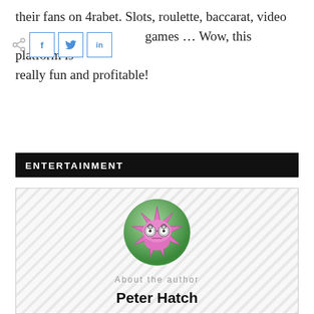their fans on 4rabet. Slots, roulette, baccarat, video poker, and other games … Wow, this platform is really fun and profitable!
ENTERTAINMENT
[Figure (illustration): Author avatar: a green circle with a pink star-shaped cartoon character wearing spiral glasses]
About the author
Peter Hatch